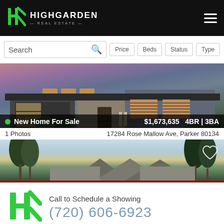[Figure (logo): Highgarden Real Estate logo with green stylized H and white text on black header]
[Figure (screenshot): Search bar with Price, Beds, Status, Type filter buttons]
[Figure (photo): Modern single-story home exterior photo at dusk with stone and stucco facade]
New Home For Sale
$1,673,635   4BR | 3BA
1 Photos
17284 Rose Mallow Ave, Parker 80134
[Figure (photo): Second home listing photo showing rooftop against sky with trees, with heart/save icon]
Call to Schedule a Showing
(720) 606-6923